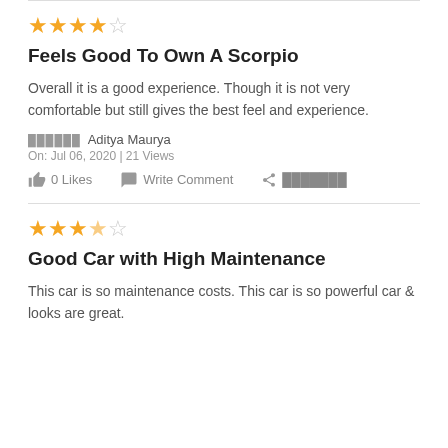[Figure (other): 4 out of 5 stars rating (4 filled orange stars, 1 empty star)]
Feels Good To Own A Scorpio
Overall it is a good experience. Though it is not very comfortable but still gives the best feel and experience.
██████ Aditya Maurya
On: Jul 06, 2020 | 21 Views
0 Likes   Write Comment   ███████
[Figure (other): 3.5 out of 5 stars rating (3 filled orange stars, 1 half-filled orange star, 1 empty star)]
Good Car with High Maintenance
This car is so maintenance costs. This car is so powerful car & looks are great.